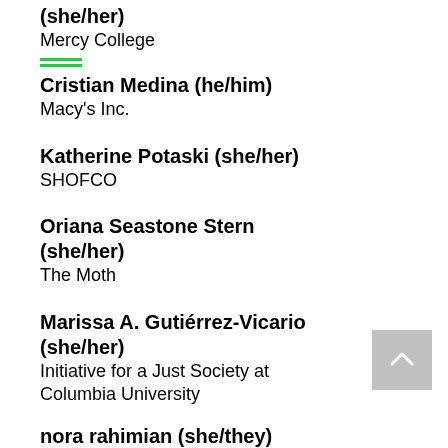(she/her)
Mercy College
Cristian Medina (he/him)
Macy's Inc.
Katherine Potaski (she/her)
SHOFCO
Oriana Seastone Stern (she/her)
The Moth
Marissa A. Gutiérrez-Vicario (she/her)
Initiative for a Just Society at Columbia University
nora rahimian (she/they)
#CultureFix
Simmi Goomer (she/her)